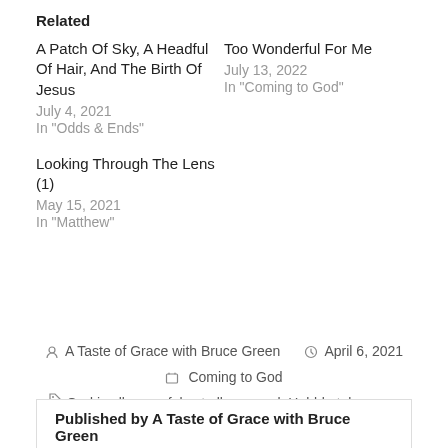Related
A Patch Of Sky, A Headful Of Hair, And The Birth Of Jesus
July 4, 2021
In "Odds & Ends"
Too Wonderful For Me
July 13, 2022
In "Coming to God"
Looking Through The Lens (1)
May 15, 2021
In "Matthew"
A Taste of Grace with Bruce Green   April 6, 2021
Coming to God
God is all-powerful yet all personal, Hubble telescope, Mark 5:25ff, Psalm 8, size of universe
Published by A Taste of Grace with Bruce Green